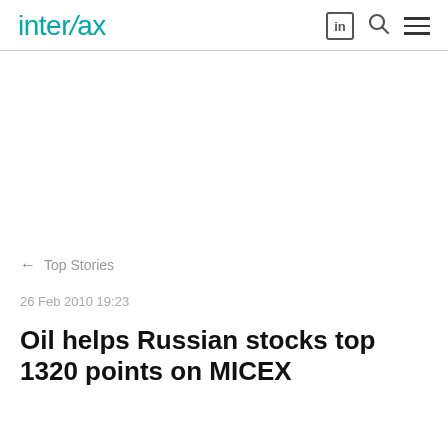interfax
← Top Stories
26 Feb 2010 19:23
Oil helps Russian stocks top 1320 points on MICEX